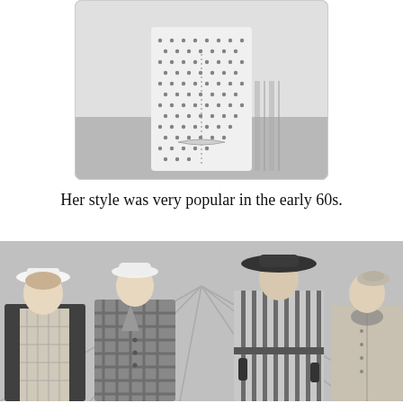[Figure (photo): Black and white vintage photo of a woman wearing a polka-dot or houndstooth patterned coat/dress, shown from roughly the waist up, slightly cropped at the top, outdoors setting.]
Her style was very popular in the early 60s.
[Figure (photo): Black and white vintage photo of four women standing together, each wearing fashionable early 1960s outfits and hats — including a white bucket hat, a white brimmed hat, a wide-brim dark hat, and a small beret. They wear coats and suits typical of early 60s fashion.]